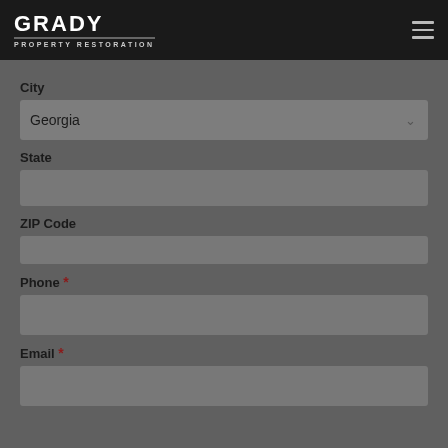[Figure (logo): Grady Property Restoration logo with bold white GRADY text, underline, and PROPERTY RESTORATION subtitle]
City
Georgia (dropdown)
State
ZIP Code
Phone *
Email *